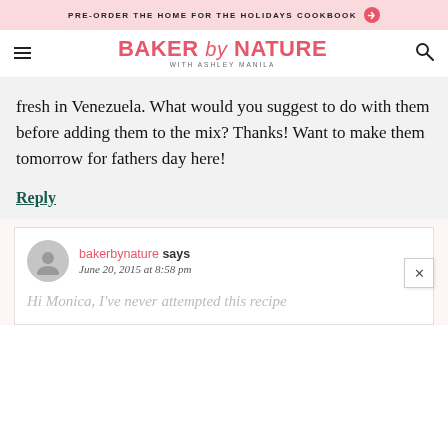PRE-ORDER THE HOME FOR THE HOLIDAYS COOKBOOK →
BAKER by NATURE WITH ASHLEY MANILA
fresh in Venezuela. What would you suggest to do with them before adding them to the mix? Thanks! Want to make them tomorrow for fathers day here!
Reply
bakerbynature says
June 20, 2015 at 8:58 pm
Hi Monica, I've never attempted this recipe